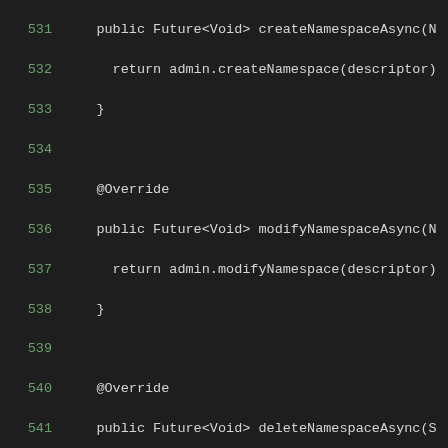[Figure (screenshot): Java source code lines 531-559 showing overridden methods createNamespaceAsync, modifyNamespaceAsync, deleteNamespaceAsync, getNamespaceDescriptor, listNamespaces, and listNamespaceDescriptors in a dark-themed code editor.]